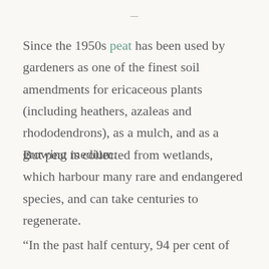—
Since the 1950s peat has been used by gardeners as one of the finest soil amendments for ericaceous plants (including heathers, azaleas and rhododendrons), as a mulch, and as a growing medium.
But peat is collected from wetlands, which harbour many rare and endangered species, and can take centuries to regenerate.
“In the past half century, 94 per cent of